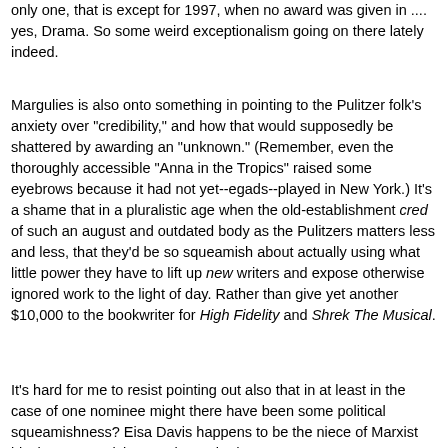only one, that is except for 1997, when no award was given in .... yes, Drama. So some weird exceptionalism going on there lately indeed.
Margulies is also onto something in pointing to the Pulitzer folk's anxiety over "credibility," and how that would supposedly be shattered by awarding an "unknown." (Remember, even the thoroughly accessible "Anna in the Tropics" raised some eyebrows because it had not yet--egads--played in New York.) It's a shame that in a pluralistic age when the old-establishment cred of such an august and outdated body as the Pulitzers matters less and less, that they'd be so squeamish about actually using what little power they have to lift up new writers and expose otherwise ignored work to the light of day. Rather than give yet another $10,000 to the bookwriter for High Fidelity and Shrek The Musical.
It's hard for me to resist pointing out also that in at least in the case of one nominee might there have been some political squeamishness? Eisa Davis happens to be the niece of Marxist black-power activist Angela Davis. (Her